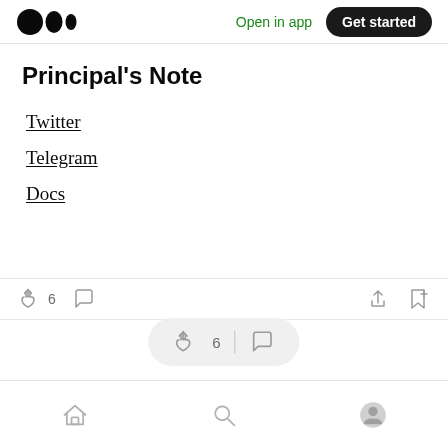Open in app | Get started
Principal's Note
Twitter
Telegram
Docs
[Figure (screenshot): Article action bar with clap icon showing 6 claps, comment icon, share icon, and bookmark icon]
[Figure (screenshot): Floating bottom action bar with clap icon, 6 count, divider, and comment icon]
Home | Search | Profile navigation icons